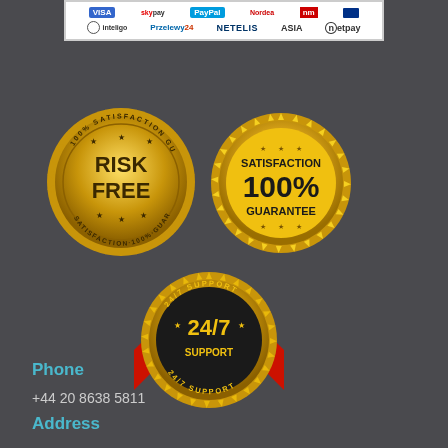[Figure (logo): Payment provider logos banner: Przelewy24, NETELIS, ASIA, netpay, inteligo and others]
[Figure (infographic): Three trust badges: 'Risk Free 100% Satisfaction Guarantee' gold coin badge, 'Satisfaction 100% Guarantee' gold seal badge, and '24/7 Support' gold coin badge with red ribbon]
Phone
+44 20 8638 5811
Address